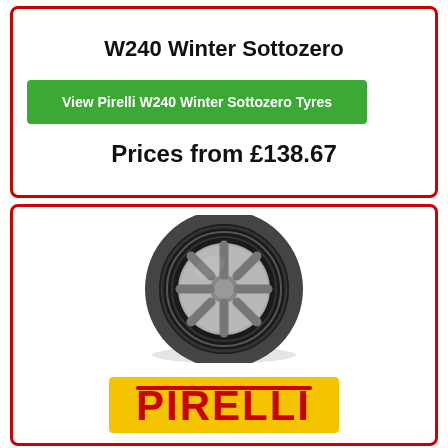W240 Winter Sottozero
View Pirelli W240 Winter Sottozero Tyres
Prices from £138.67
[Figure (photo): Pirelli W240 Winter Sottozero tyre photograph showing tread pattern and alloy wheel]
[Figure (logo): Pirelli logo in red on yellow/gold background]